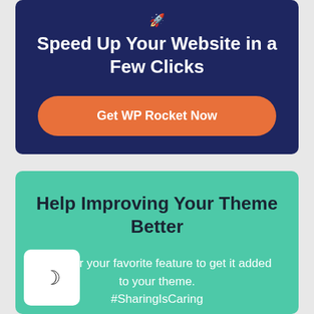Speed Up Your Website in a Few Clicks
Get WP Rocket Now
Help Improving Your Theme Better
Vote for your favorite feature to get it added to your theme. #SharingIsCaring